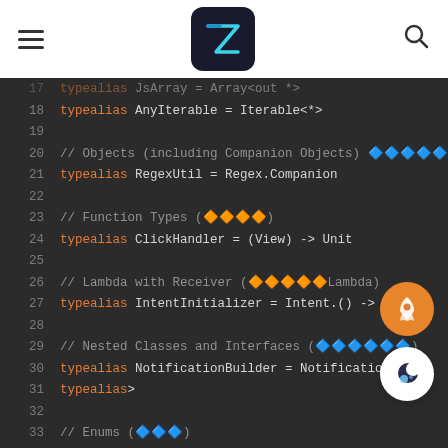[Figure (screenshot): Navigation bar with hamburger menu icon on left, stylized 'Z' logo in center, and search icon on right]
[Figure (screenshot): Code editor screenshot showing Kotlin typealias examples including AnyIterable, RegexUtil, ClickHandler, IntentInitializer, NotificationBuilder, OnPermissionResult, Direction with line numbers 17-37 on dark background]
[Figure (illustration): Floating orange rocket button icon]
[Figure (illustration): Floating white moon button icon]